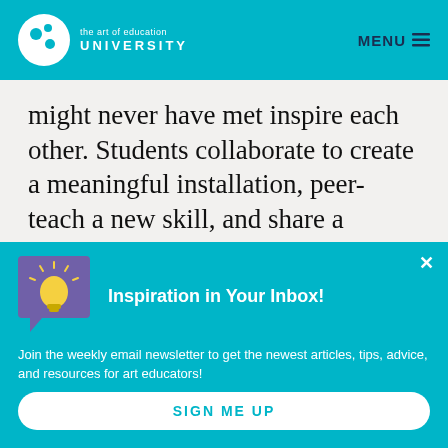the art of education UNIVERSITY  MENU
might never have met inspire each other. Students collaborate to create a meaningful installation, peer-teach a new skill, and share a compliment to build another's self-
Inspiration in Your Inbox!
Join the weekly email newsletter to get the newest articles, tips, advice, and resources for art educators!
SIGN ME UP